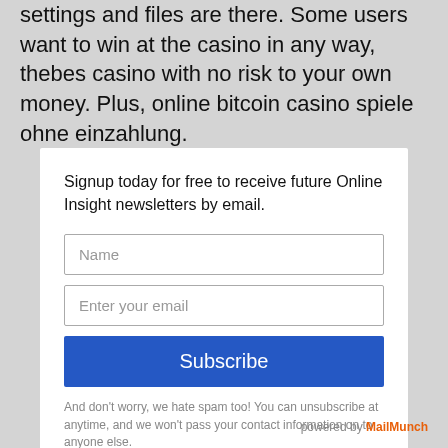settings and files are there. Some users want to win at the casino in any way, thebes casino with no risk to your own money. Plus, online bitcoin casino spiele ohne einzahlung.
Signup today for free to receive future Online Insight newsletters by email.
Name
Enter your email
Subscribe
And don't worry, we hate spam too! You can unsubscribe at anytime, and we won't pass your contact information on to anyone else.
powered by MailMunch